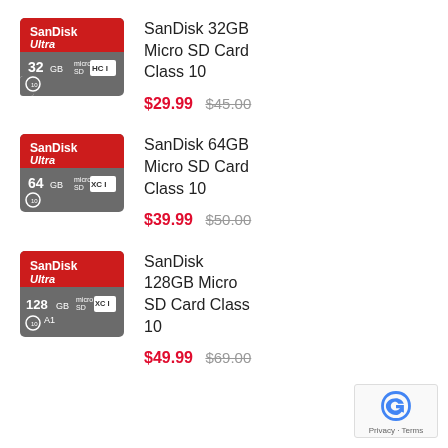[Figure (photo): SanDisk Ultra 32GB Micro SD Card product image - red and grey card]
SanDisk 32GB Micro SD Card Class 10
$29.99  $45.00
[Figure (photo): SanDisk Ultra 64GB Micro SD Card product image - red and grey card]
SanDisk 64GB Micro SD Card Class 10
$39.99  $50.00
[Figure (photo): SanDisk Ultra 128GB Micro SD Card product image - red and grey card]
SanDisk 128GB Micro SD Card Class 10
$49.99  $69.00
[Figure (logo): reCAPTCHA logo with Privacy - Terms text]